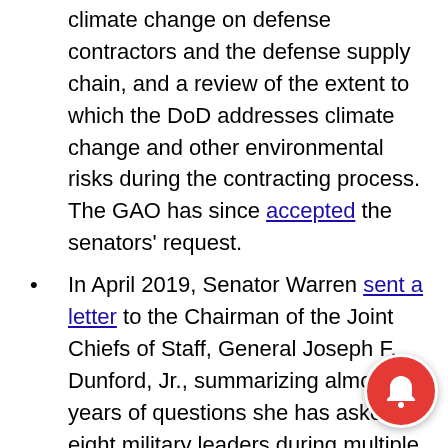climate change on defense contractors and the defense supply chain, and a review of the extent to which the DoD addresses climate change and other environmental risks during the contracting process. The GAO has since accepted the senators' request.
In April 2019, Senator Warren sent a letter to the Chairman of the Joint Chiefs of Staff, General Joseph F. Dunford, Jr., summarizing almost two years of questions she has asked eight military leaders during multiple SASC hearings that revealed unanimous concern about the rising threat of the climate crisis to the United States military's missions, operations, plans, installations, and overall readiness. In reply to Senator Warren, General Dunford